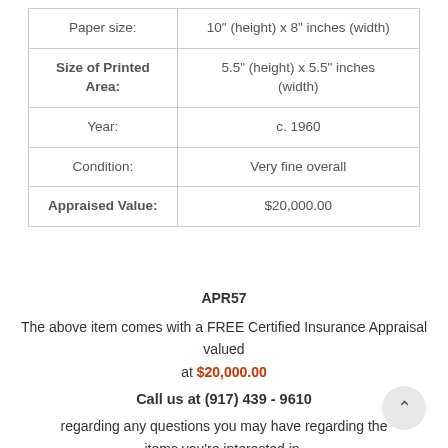|  |  |
| --- | --- |
| Paper size: | 10" (height) x 8" inches (width) |
| Size of Printed Area: | 5.5" (height) x 5.5" inches (width) |
| Year: | c. 1960 |
| Condition: | Very fine overall |
| Appraised Value: | $20,000.00 |
APR57
The above item comes with a FREE Certified Insurance Appraisal valued at $20,000.00
Call us at (917) 439 - 9610
regarding any questions you may have regarding the items you're interested in.